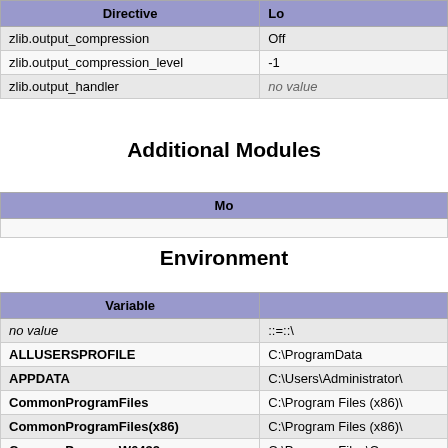| Directive | Lo... |
| --- | --- |
| zlib.output_compression | Off |
| zlib.output_compression_level | -1 |
| zlib.output_handler | no value |
Additional Modules
| Mo... |
| --- |
Environment
| Variable |  |
| --- | --- |
| no value | ::=::\ |
| ALLUSERSPROFILE | C:\ProgramData |
| APPDATA | C:\Users\Administrator\ |
| CommonProgramFiles | C:\Program Files (x86)\ |
| CommonProgramFiles(x86) | C:\Program Files (x86)\ |
| CommonProgramW6432 | C:\Program Files\Comm |
| COMPUTERNAME | SAMBAPP2 |